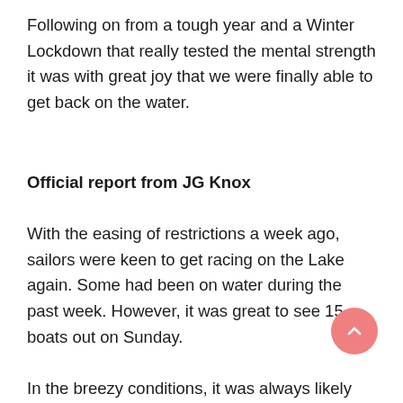Following on from a tough year and a Winter Lockdown that really tested the mental strength it was with great joy that we were finally able to get back on the water.
Official report from JG Knox
With the easing of restrictions a week ago, sailors were keen to get racing on the Lake again. Some had been on water during the past week. However, it was great to see 15 boats out on Sunday.
In the breezy conditions, it was always likely